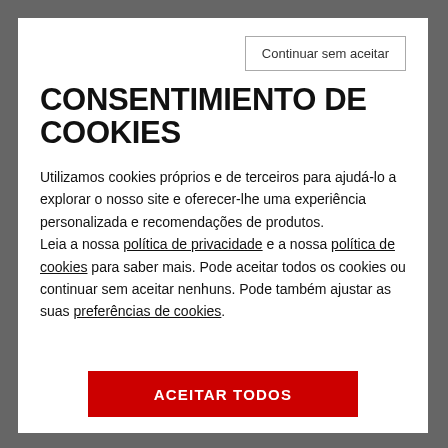Continuar sem aceitar
CONSENTIMIENTO DE COOKIES
Utilizamos cookies próprios e de terceiros para ajudá-lo a explorar o nosso site e oferecer-lhe uma experiência personalizada e recomendações de produtos. Leia a nossa política de privacidade e a nossa política de cookies para saber mais. Pode aceitar todos os cookies ou continuar sem aceitar nenhuns. Pode também ajustar as suas preferências de cookies.
ACEITAR TODOS